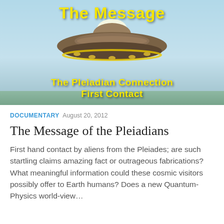[Figure (illustration): Movie/documentary cover image with a flying saucer UFO against a light blue sky. Yellow bold text reads 'The Message' at the top and 'The Pleiadian Connection First Contact' at the bottom of the image.]
DOCUMENTARY  AUGUST 20, 2012
The Message of the Pleiadians
First hand contact by aliens from the Pleiades; are such startling claims amazing fact or outrageous fabrications? What meaningful information could these cosmic visitors possibly offer to Earth humans? Does a new Quantum-Physics world-view...